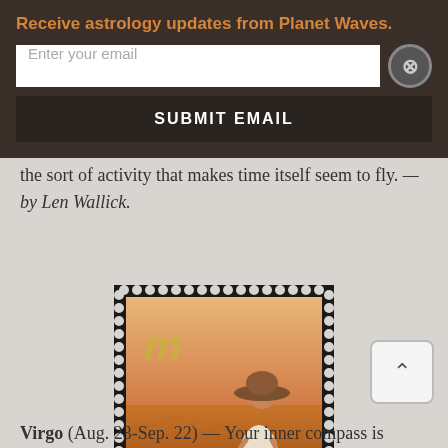Receive astrology updates from Planet Waves.
the sort of activity that makes time itself seem to fly. — by Len Wallick.
[Figure (photo): A postage stamp-style image featuring the Virgo zodiac symbol (a stylized 'm' with a loop) in gold on the left, and a woman in a white dress and wide-brimmed hat standing in a golden wheat field, with a warm sunset background. The stamp has a perforated black border.]
Virgo (Aug. 23-Sep. 22) — Your inner compass is